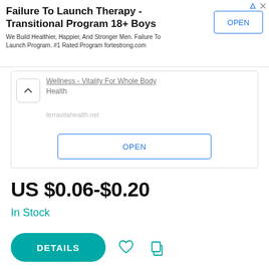[Figure (screenshot): Advertisement banner: 'Failure To Launch Therapy - Transitional Program 18+ Boys' with OPEN button]
Wellness - Vitality For Whole Body Health
terravitahealth.net
OPEN
US $0.06-$0.20
In Stock
DETAILS